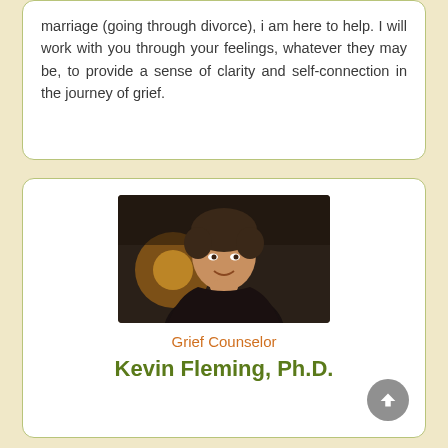marriage (going through divorce), i am here to help. I will work with you through your feelings, whatever they may be, to provide a sense of clarity and self-connection in the journey of grief.
[Figure (photo): Professional headshot of Kevin Fleming, Ph.D. — a middle-aged man with dark hair, smiling, hand raised to chin, wearing a dark jacket, with a warm bokeh background with orange lights.]
Grief Counselor
Kevin Fleming, Ph.D.